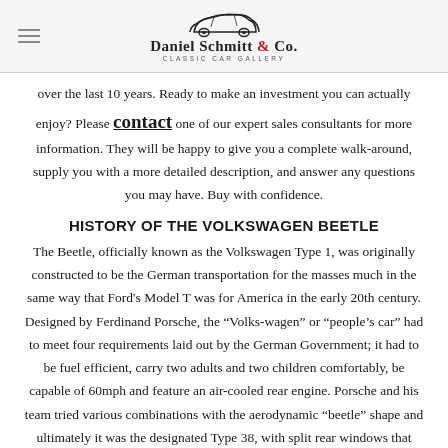Daniel Schmitt & Co. Classic Car Gallery
over the last 10 years. Ready to make an investment you can actually enjoy? Please contact one of our expert sales consultants for more information. They will be happy to give you a complete walk-around, supply you with a more detailed description, and answer any questions you may have. Buy with confidence.
HISTORY OF THE VOLKSWAGEN BEETLE
The Beetle, officially known as the Volkswagen Type 1, was originally constructed to be the German transportation for the masses much in the same way that Ford's Model T was for America in the early 20th century. Designed by Ferdinand Porsche, the "Volks-wagen" or "people's car" had to meet four requirements laid out by the German Government; it had to be fuel efficient, carry two adults and two children comfortably, be capable of 60mph and feature an air-cooled rear engine. Porsche and his team tried various combinations with the aerodynamic "beetle" shape and ultimately it was the designated Type 38, with split rear windows that became the Type 60 or "KdF-Wagen" (translated as the "strength through